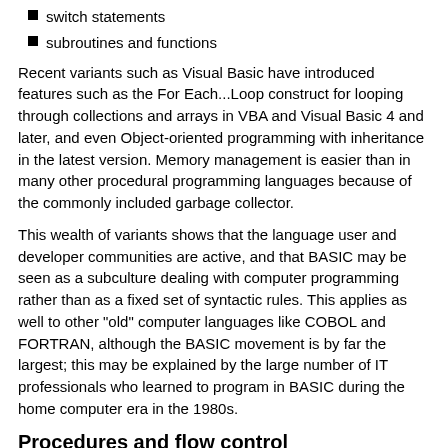switch statements
subroutines and functions
Recent variants such as Visual Basic have introduced features such as the For Each...Loop construct for looping through collections and arrays in VBA and Visual Basic 4 and later, and even Object-oriented programming with inheritance in the latest version. Memory management is easier than in many other procedural programming languages because of the commonly included garbage collector.
This wealth of variants shows that the language user and developer communities are active, and that BASIC may be seen as a subculture dealing with computer programming rather than as a fixed set of syntactic rules. This applies as well to other "old" computer languages like COBOL and FORTRAN, although the BASIC movement is by far the largest; this may be explained by the large number of IT professionals who learned to program in BASIC during the home computer era in the 1980s.
Procedures and flow control
Most BASICs do not use an external library for common operations like other languages such as C. Instead, the interpreter (or compiler) contains an extensive built-in library of intrinsic procedures, rather like most Pascals. These procedures include most of the tools a programmer needs to learn programming and write simple applications, including functions for math, strings, console input/output, graphics and file manipulation.